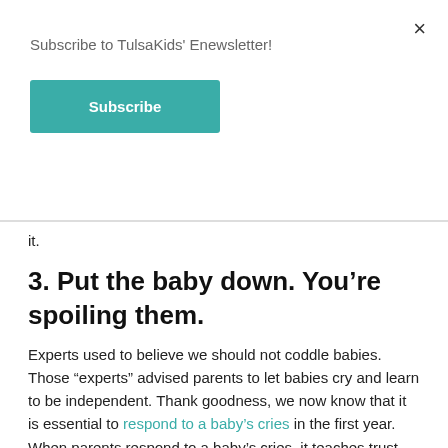Subscribe to TulsaKids' Enewsletter!
Subscribe
it.
3. Put the baby down. You’re spoiling them.
Experts used to believe we should not coddle babies. Those “experts” advised parents to let babies cry and learn to be independent. Thank goodness, we now know that it is essential to respond to a baby’s cries in the first year. When parents respond to a baby’s cries, it teaches trust and helps children develop healthy attachments. If your baby cries excessively, discuss it with the pediatrician in the first year of life. hold that baby!